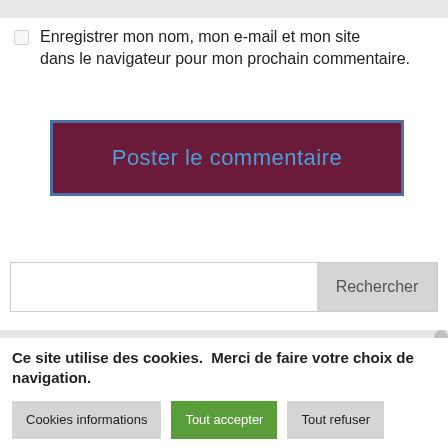Enregistrer mon nom, mon e-mail et mon site dans le navigateur pour mon prochain commentaire.
Poster le commentaire
Rechercher
Ce site utilise des cookies. Merci de faire votre choix de navigation.
Cookies informations
Tout accepter
Tout refuser